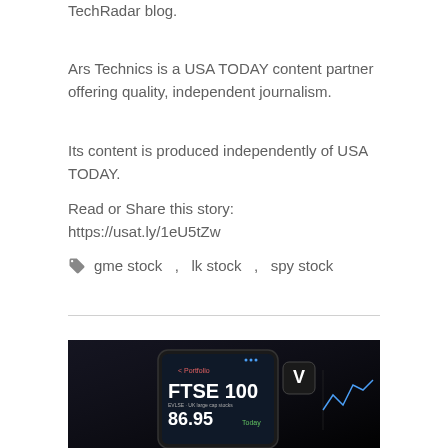TechRadar blog.
Ars Technics is a USA TODAY content partner offering quality, independent journalism.
Its content is produced independently of USA TODAY.
Read or Share this story: https://usat.ly/1eU5tZw
🏷 gme stock  ,  lk stock  ,  spy stock
[Figure (photo): Smartphone showing a stock portfolio app with FTSE 100 displayed, dark background]